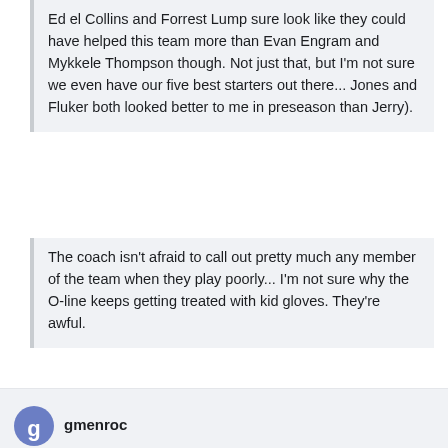Ed el Collins and Forrest Lump sure look like they could have helped this team more than Evan Engram and Mykkele Thompson though. Not just that, but I'm not sure we even have our five best starters out there... Jones and Fluker both looked better to me in preseason than Jerry).
The coach isn't afraid to call out pretty much any member of the team when they play poorly... I'm not sure why the O-line keeps getting treated with kid gloves. They're awful.
I can't be mad at the Engram pic... part of fixing the offense is also fixing the TE position.... and it's not like the team hadn't invested enough picks at the OL position... Fucking Flowers looks like a huge bust and that's very hard for any NFL team to overcome.
gmenroc